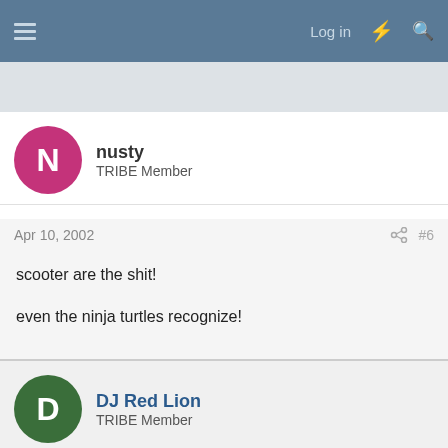Log in
nusty
TRIBE Member
Apr 10, 2002  #6
scooter are the shit!

even the ninja turtles recognize!
DJ Red Lion
TRIBE Member
Apr 10, 2002  #7